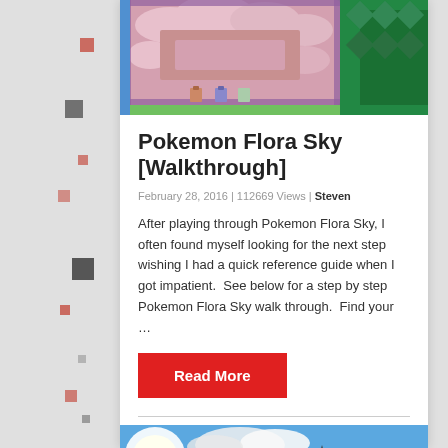[Figure (screenshot): Pokemon Flora Sky game screenshot showing a pink cloud maze area with green border and trees, pixel art style top-down RPG view]
Pokemon Flora Sky [Walkthrough]
February 28, 2016 | 112669 Views | Steven
After playing through Pokemon Flora Sky, I often found myself looking for the next step wishing I had a quick reference guide when I got impatient.  See below for a step by step Pokemon Flora Sky walk through.  Find your …
Read More
[Figure (screenshot): ARK Survival Evolved game screenshot showing a large dark dinosaur (stegosaurus) in a lush green outdoor environment with bright sky and trees]